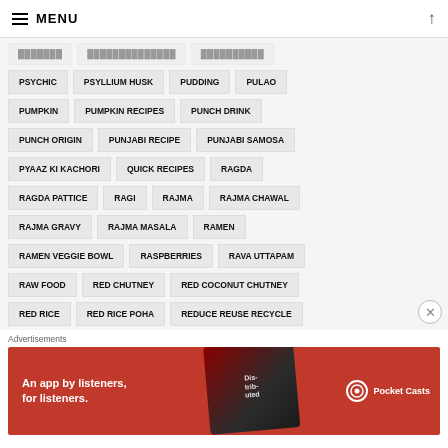MENU
PSYCHIC
PSYLLIUM HUSK
PUDDING
PULAO
PUMPKIN
PUMPKIN RECIPES
PUNCH DRINK
PUNCH ORIGIN
PUNJABI RECIPE
PUNJABI SAMOSA
PYAAZ KI KACHORI
QUICK RECIPES
RAGDA
RAGDA PATTICE
RAGI
RAJMA
RAJMA CHAWAL
RAJMA GRAVY
RAJMA MASALA
RAMEN
RAMEN VEGGIE BOWL
RASPBERRIES
RAVA UTTAPAM
RAW FOOD
RED CHUTNEY
RED COCONUT CHUTNEY
RED RICE
RED RICE POHA
REDUCE REUSE RECYCLE
REFINED SUGAR FREE
RELIANCE
RESEARCH
RESPECT
Advertisements
[Figure (photo): Pocket Casts advertisement banner: red background with phone image, text 'An app by listeners, for listeners.' and Pocket Casts logo]